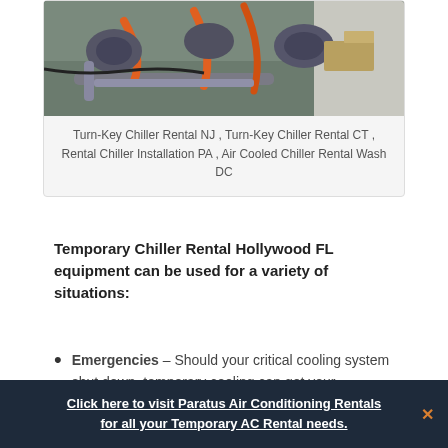[Figure (photo): Photo of industrial chiller equipment — pumps and orange hoses/pipes arranged outdoors on pavement]
Turn-Key Chiller Rental NJ , Turn-Key Chiller Rental CT , Rental Chiller Installation PA , Air Cooled Chiller Rental Wash DC
Temporary Chiller Rental Hollywood FL equipment can be used for a variety of situations:
Emergencies – Should your critical cooling system shut down, temporary cooling can get your
Click here to visit Paratus Air Conditioning Rentals for all your Temporary AC Rental needs.